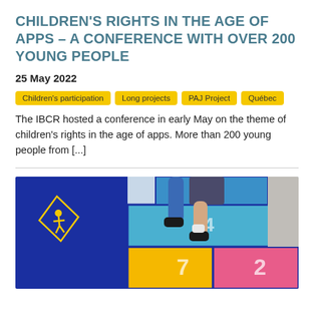CHILDREN'S RIGHTS IN THE AGE OF APPS – A CONFERENCE WITH OVER 200 YOUNG PEOPLE
25 May 2022
Children's participation
Long projects
PAJ Project
Québec
The IBCR hosted a conference in early May on the theme of children's rights in the age of apps. More than 200 young people from [...]
[Figure (photo): Photo of a child's legs wearing blue socks and black shoes, standing on a colorful hopscotch court painted on pavement. The squares are blue, yellow, and pink. A blue diamond-shaped logo with a star emblem is visible in the upper left corner of the image.]